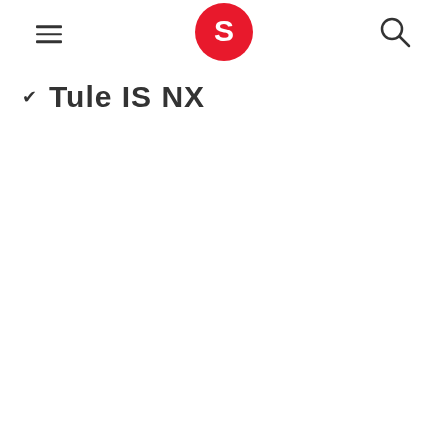[Figure (logo): Red circular logo with white letter S inside, Scribd logo]
≡
search icon
✓ Tule IS NX